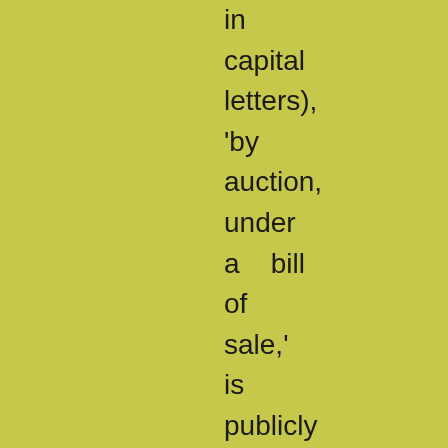in capital letters), 'by auction, under a bill of sale,' is publicly announced on a waving hearthrug in Sackville Street. But,